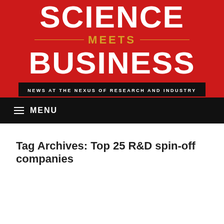[Figure (logo): Science Meets Business logo on red background with tagline 'News at the Nexus of Research and Industry']
MENU
Tag Archives: Top 25 R&D spin-off companies